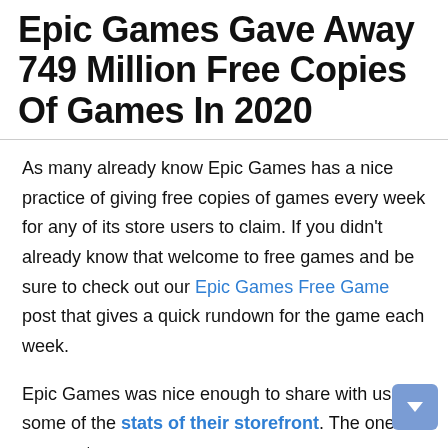Epic Games Gave Away 749 Million Free Copies Of Games In 2020
As many already know Epic Games has a nice practice of giving free copies of games every week for any of its store users to claim. If you didn't already know that welcome to free games and be sure to check out our Epic Games Free Game post that gives a quick rundown for the game each week.
Epic Games was nice enough to share with us some of the stats of their storefront. The ones I am most